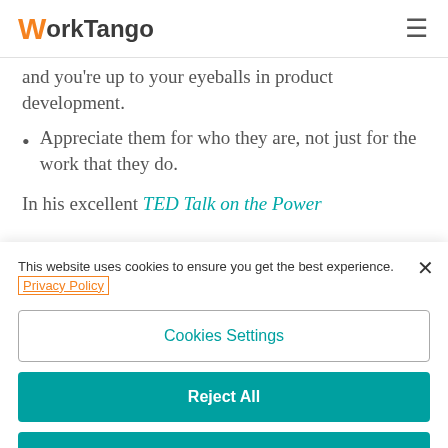WorkTango
and you're up to your eyeballs in product development.
Appreciate them for who they are, not just for the work that they do.
In his excellent TED Talk on the Power
This website uses cookies to ensure you get the best experience. Privacy Policy
Cookies Settings
Reject All
Accept All Cookies